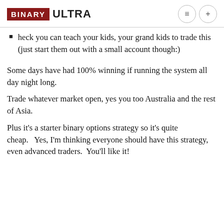BINARY ULTRA
heck you can teach your kids, your grand kids to trade this (just start them out with a small account though:)
Some days have had 100% winning if running the system all day night long.
Trade whatever market open, yes you too Australia and the rest of Asia.
Plus it's a starter binary options strategy so it's quite cheap.   Yes, I'm thinking everyone should have this strategy, even advanced traders.  You'll like it!